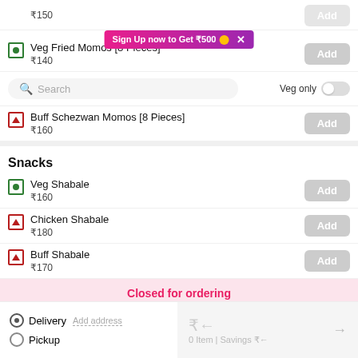₹150
[Figure (screenshot): Sign Up now to Get ₹500 promotional banner with yellow coin icon and X close button]
Veg Fried Momos [8 Pieces] ₹140
[Figure (screenshot): Search bar with purple search icon and Veg only toggle switch]
Buff Schezwan Momos [8 Pieces] ₹160
Snacks
Veg Shabale ₹160
Chicken Shabale ₹180
Buff Shabale ₹170
Closed for ordering
Delivery Add address
Pickup
₹← 0 Item | Savings ₹←